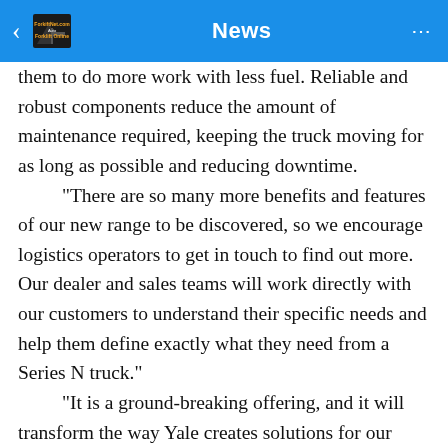News
them to do more work with less fuel. Reliable and robust components reduce the amount of maintenance required, keeping the truck moving for as long as possible and reducing downtime.
“There are so many more benefits and features of our new range to be discovered, so we encourage logistics operators to get in touch to find out more. Our dealer and sales teams will work directly with our customers to understand their specific needs and help them define exactly what they need from a Series N truck.”
“It is a ground-breaking offering, and it will transform the way Yale creates solutions for our customers. We have always said people are at the heart of our products, and in allowing our customers to create a bespoke lift truck for their